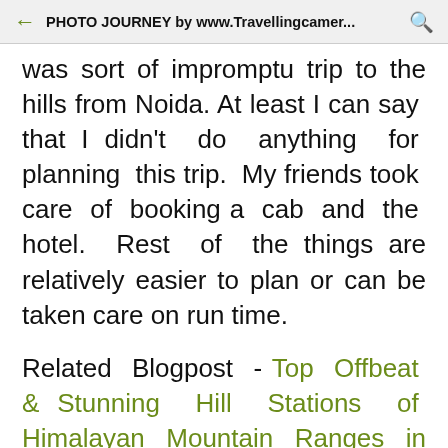PHOTO JOURNEY by www.Travellingcamer...
was sort of impromptu trip to the hills from Noida. At least I can say that I didn't do anything for planning this trip. My friends took care of booking a cab and the hotel. Rest of the things are relatively easier to plan or can be taken care on run time.
Related Blogpost - Top Offbeat & Stunning Hill Stations of Himalayan Mountain Ranges in North India